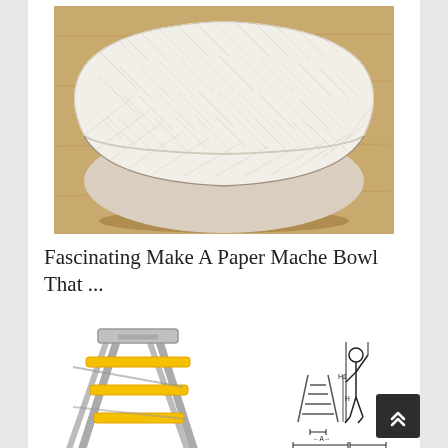[Figure (photo): A large paper mache bowl made from newspaper strips, photographed from above at an angle on a wooden surface. The bowl is white/cream colored with visible text patterns from newsprint.]
Fascinating Make A Paper Mache Bowl That ...
[Figure (photo): Left: Photo of a silver/aluminum folding step ladder with yellow rungs and feet. Right: Technical schematic diagram of a person standing on a ladder with dimension labels H1, H, A, B, C. Specifications listed: H1: 204 CM, H: 40 CM, A: 34 CM, B: 42 CM, C: 45 CM, Longueur: 45 cm]